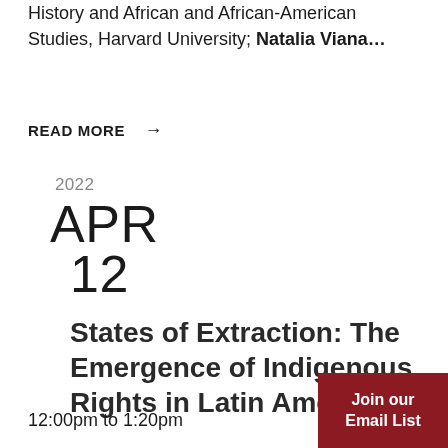History and African and African-American Studies, Harvard University; Natalia Viana…
READ MORE →
2022
APR
12
States of Extraction: The Emergence of Indigenous Rights in Latin America
12:00pm to 1:20pm
Join our Email List